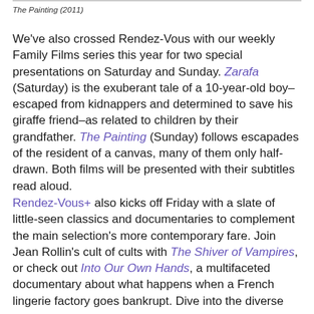The Painting (2011)
We've also crossed Rendez-Vous with our weekly Family Films series this year for two special presentations on Saturday and Sunday. Zarafa (Saturday) is the exuberant tale of a 10-year-old boy–escaped from kidnappers and determined to save his giraffe friend–as related to children by their grandfather. The Painting (Sunday) follows escapades of the resident of a canvas, many of them only half-drawn. Both films will be presented with their subtitles read aloud.
Rendez-Vous+ also kicks off Friday with a slate of little-seen classics and documentaries to complement the main selection's more contemporary fare. Join Jean Rollin's cult of cults with The Shiver of Vampires, or check out Into Our Own Hands, a multifaceted documentary about what happens when a French lingerie factory goes bankrupt. Dive into the diverse